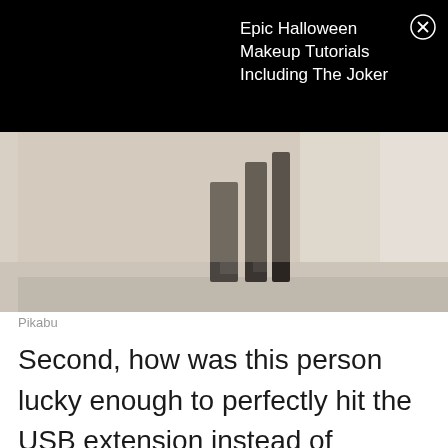Epic Halloween Makeup Tutorials Including The Joker
[Figure (photo): Close-up photo of what appears to be USB extension or similar device against a light background]
Pikabu
Second, how was this person lucky enough to perfectly hit the USB extension instead of destroying the entire television? Thanks to a matter of luck, this person still has a functioning